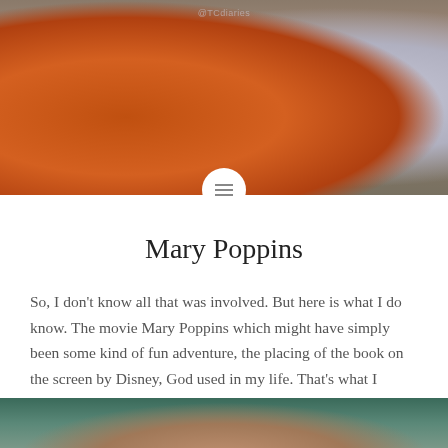[Figure (photo): Two people outdoors, one wearing an orange fleece jacket, another in a light shirt, photographed from chest down]
Mary Poppins
So, I don't know all that was involved. But here is what I do know. The movie Mary Poppins which might have simply been some kind of fun adventure, the placing of the book on the screen by Disney, God used in my life. That's what I know. I cannot tell you HOW that is possible....
READ MORE
[Figure (photo): Partial view of a person's face, cropped at bottom of page]